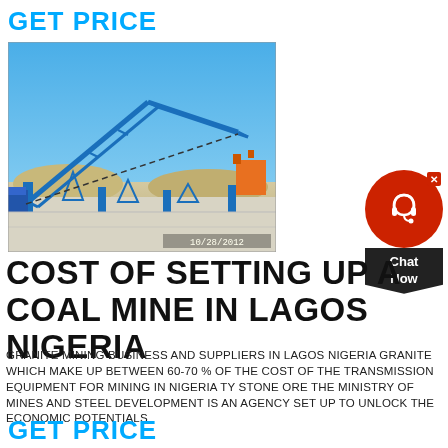GET PRICE
[Figure (photo): Outdoor industrial mining facility with blue steel conveyor structures and machinery against a clear blue sky, dated 10/28/2012]
[Figure (other): Red circular chat widget button with headset icon, X close button, and dark pentagon-shaped 'Chat Now' label below]
COST OF SETTING UP A COAL MINE IN LAGOS NIGERIA
GRANITE MINING BUSINESS AND SUPPLIERS IN LAGOS NIGERIA GRANITE WHICH MAKE UP BETWEEN 60-70 % OF THE COST OF THE TRANSMISSION EQUIPMENT FOR MINING IN NIGERIA TY STONE ORE THE MINISTRY OF MINES AND STEEL DEVELOPMENT IS AN AGENCY SET UP TO UNLOCK THE ECONOMIC POTENTIALS
GET PRICE